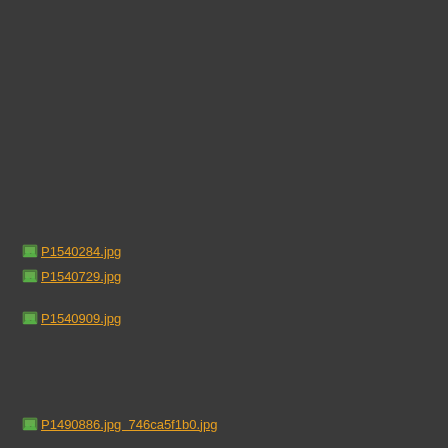[Figure (screenshot): File browser / directory listing screenshot on dark background showing image file links: P1540284.jpg, P1540729.jpg, P1540909.jpg, P1490886.jpg (partially overlapping), and 746ca5f1b0.jpg]
P1540284.jpg
P1540729.jpg
P1540909.jpg
P1490886.jpg
746ca5f1b0.jpg